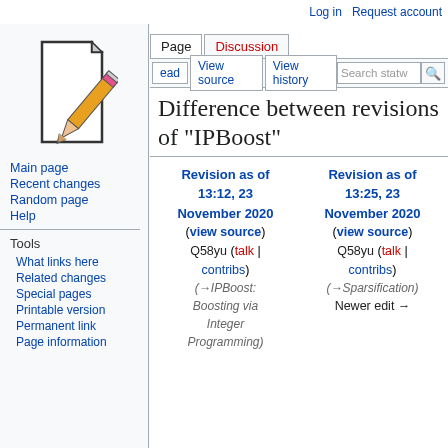Log in  Request account
[Figure (illustration): Wikipedia-style pencil and paper logo for a wiki site]
Page  Discussion
Read  View source  View history  Search statw
Difference between revisions of "IPBoost"
Revision as of 13:12, 23 November 2020 (view source) Q58yu (talk | contribs) (→IPBoost: Boosting via Integer Programming)
Revision as of 13:25, 23 November 2020 (view source) Q58yu (talk | contribs) (→Sparsification) Newer edit →
Main page
Recent changes
Random page
Help
Tools
What links here
Related changes
Special pages
Printable version
Permanent link
Page information